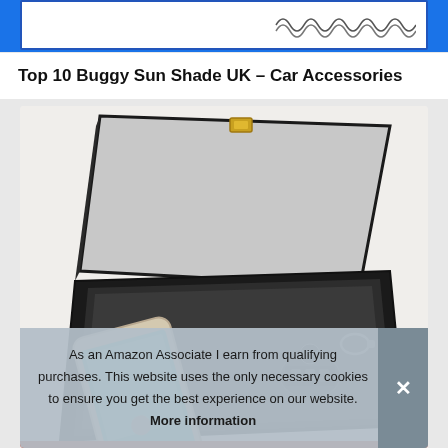[Figure (illustration): Top portion of a white card with coil/spring graphic on blue banner background]
Top 10 Buggy Sun Shade UK – Car Accessories
[Figure (photo): Open black leather box/case with gold clasp, containing a smartphone and car key fob, on white background]
As an Amazon Associate I earn from qualifying purchases. This website uses the only necessary cookies to ensure you get the best experience on our website. More information